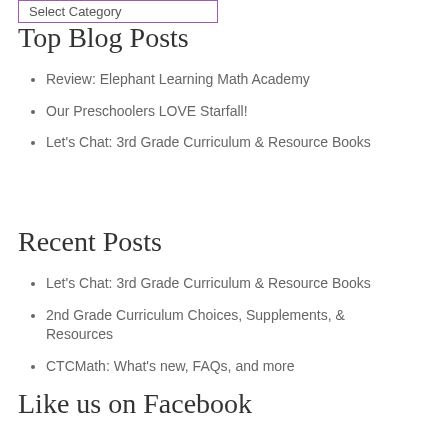Select Category
Top Blog Posts
Review: Elephant Learning Math Academy
Our Preschoolers LOVE Starfall!
Let's Chat: 3rd Grade Curriculum & Resource Books
Recent Posts
Let's Chat: 3rd Grade Curriculum & Resource Books
2nd Grade Curriculum Choices, Supplements, & Resources
CTCMath: What's new, FAQs, and more
Like us on Facebook